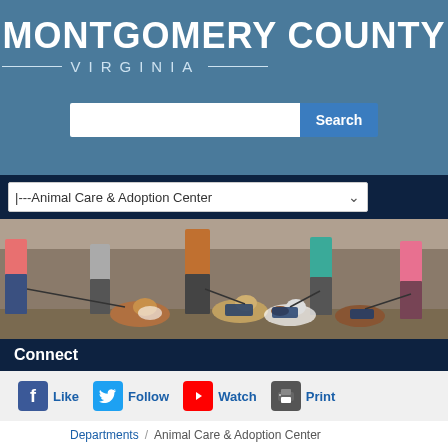MONTGOMERY COUNTY VIRGINIA
[Figure (photo): People walking multiple dogs on leashes outdoors]
Connect
Like  Follow  Watch  Print
Departments / Animal Care & Adoption Center
Adopt a Pet